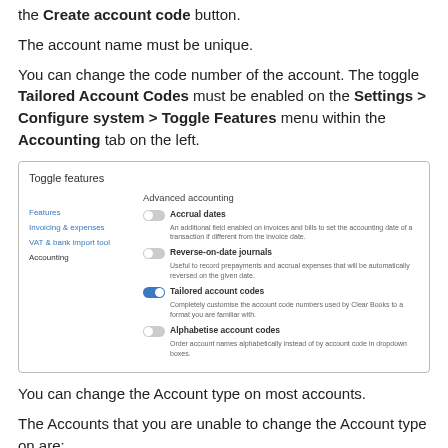the Create account code button.
The account name must be unique.
You can change the code number of the account. The toggle Tailored Account Codes must be enabled on the Settings > Configure system > Toggle Features menu within the Accounting tab on the left.
[Figure (screenshot): Screenshot of the Toggle Features settings page showing Advanced accounting options: Accrual dates (off), Reverse-on-date journals (off), Tailored account codes (on/enabled, blue), Alphabetise account codes (off). Left sidebar shows Features, Invoicing & expenses, VAT & bank import tool, Accounting navigation links.]
You can change the Account type on most accounts.
The Accounts that you are unable to change the Account type on are: